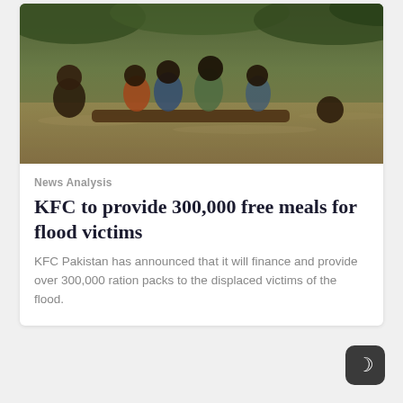[Figure (photo): People including children wading through flood water on a wooden boat/plank, murky brown floodwater surrounding them, green vegetation in background]
News Analysis
KFC to provide 300,000 free meals for flood victims
KFC Pakistan has announced that it will finance and provide over 300,000 ration packs to the displaced victims of the flood.